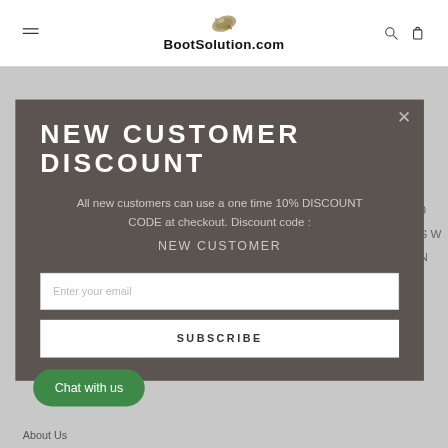BootSolution.com
NEW CUSTOMER DISCOUNT
All new customers can use a one time 10% DISCOUNT CODE at checkout. Discount code :
NEW CUSTOMER
Enter your email
SUBSCRIBE
Chat with us
About Us